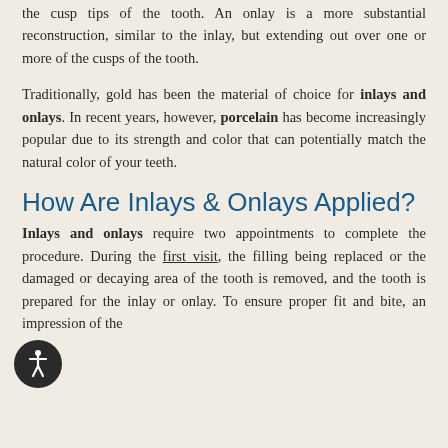the cusp tips of the tooth. An onlay is a more substantial reconstruction, similar to the inlay, but extending out over one or more of the cusps of the tooth.
Traditionally, gold has been the material of choice for inlays and onlays. In recent years, however, porcelain has become increasingly popular due to its strength and color that can potentially match the natural color of your teeth.
How Are Inlays & Onlays Applied?
Inlays and onlays require two appointments to complete the procedure. During the first visit, the filling being replaced or the damaged or decaying area of the tooth is removed, and the tooth is prepared for the inlay or onlay. To ensure proper fit and bite, an impression of the